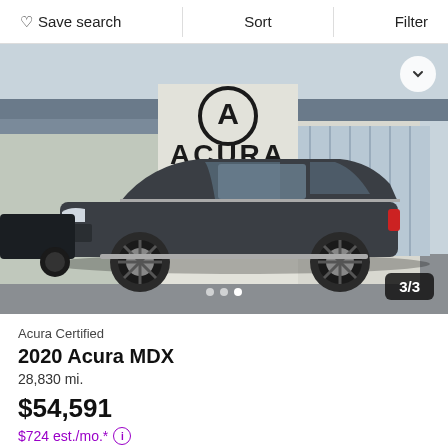Save search   Sort   Filter
[Figure (photo): A dark gray 2020 Acura MDX SUV parked in front of an Acura dealership. The dealership building shows the Acura logo and name prominently. Image counter shows 3/3.]
Acura Certified
2020 Acura MDX
28,830 mi.
$54,591
$724 est./mo.* ⓘ